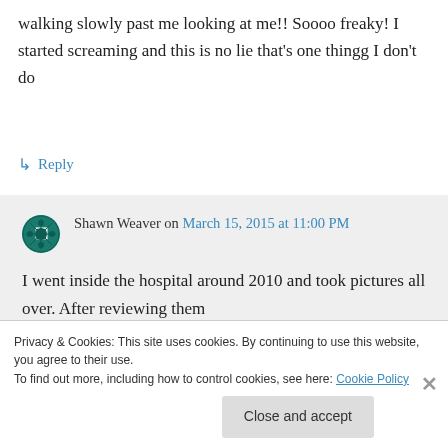walking slowly past me looking at me!! Soooo freaky! I started screaming and this is no lie that's one thingg I don't do
↳ Reply
Shawn Weaver on March 15, 2015 at 11:00 PM
I went inside the hospital around 2010 and took pictures all over. After reviewing them
Privacy & Cookies: This site uses cookies. By continuing to use this website, you agree to their use.
To find out more, including how to control cookies, see here: Cookie Policy